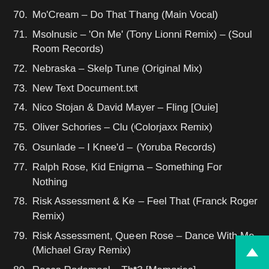70. Mo'Cream – Do That Thang (Main Vocal)
71. Msolnusic – 'On Me' (Tony Lionni Remix) – (Soul Room Records)
72. Nebraska – Skelp Tune (Original Mix)
73. New Text Document.txt
74. Nico Stojan & David Mayer – Fling [Ouie]
75. Oliver Schories – Clu (Colorjaxx Remix)
76. Osunlade – I Knee'd – (Yoruba Records)
77. Ralph Rose, Kid Enigma – Something For Nothing
78. Risk Assessment & Ke – Feel That (Franck Roger Remix)
79. Risk Assessment, Queen Rose – Dance With Me (Michael Gray Remix)
80. Rocco Rodamaal – Tbt3 [Memories]
81. Rocco Rodamaal, Atjazz – Tbt3 (Atjazz Remix) – (Memories)
82. Rony Breaker – Elevate feat. Nathan Thomas (Mi... Migs Salty Space Dub)